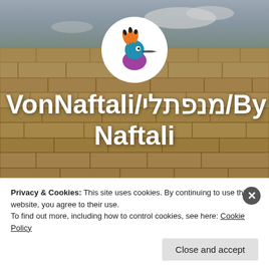[Figure (photo): Background photo of the Western Wall (Kotel) in Jerusalem, stone blocks, blue sky with clouds]
[Figure (logo): Circular white logo with a colorful hoopoe bird illustration (teal/blue head, orange and black crest, purple body, long beak) on white circle background]
VonNaftali/מנפתלי/By Naftali
Blog on Business, Innovation & more from Israel
Privacy & Cookies: This site uses cookies. By continuing to use this website, you agree to their use.
To find out more, including how to control cookies, see here: Cookie Policy
Close and accept